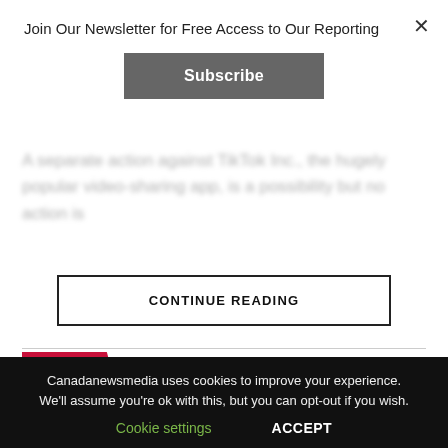Join Our Newsletter for Free Access to Our Reporting
Subscribe
A separate action against TikTok Inc., the hugely popular video-sharing app, is a possibility but no action is
CONTINUE READING
LATEST   TRENDING   VIDEOS
HEALTH / 2 hours ago
Legionnaire's suspected cause of
[Figure (photo): Thumbnail photo of people wearing masks]
Canadanewsmedia uses cookies to improve your experience. We'll assume you're ok with this, but you can opt-out if you wish.
Cookie settings   ACCEPT